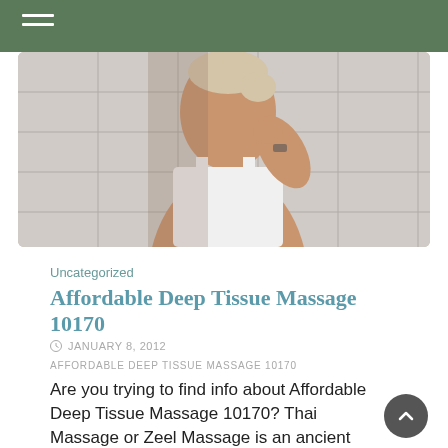[Figure (photo): A woman in a white tank top touching her shoulder/neck in what appears to be a bathroom with tiled walls]
Uncategorized
Affordable Deep Tissue Massage 10170
JANUARY 8, 2012
AFFORDABLE DEEP TISSUE MASSAGE 10170
Are you trying to find info about Affordable Deep Tissue Massage 10170? Thai Massage or Zeel Massage is an ancient treatment that integrates the spiritual, mental, and physical